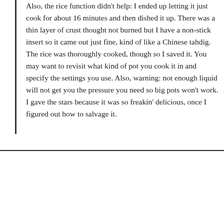Also, the rice function didn't help: I ended up letting it just cook for about 16 minutes and then dished it up. There was a thin layer of crust thought not burned but I have a non-stick insert so it came out just fine, kind of like a Chinese tahdig. The rice was thoroughly cooked, though so I saved it. You may want to revisit what kind of pot you cook it in and specify the settings you use. Also, warning: not enough liquid will not get you the pressure you need so big pots won't work. I gave the stars because it was so freakin' delicious, once I figured out how to salvage it.
KARLA says: REPLY
I've tried this recipe twice and the instructions are a no go. The first time I tried it, I did it in an 8 quart pot. I put it on the rice setting and it never came up to pressure. I figured that the 8